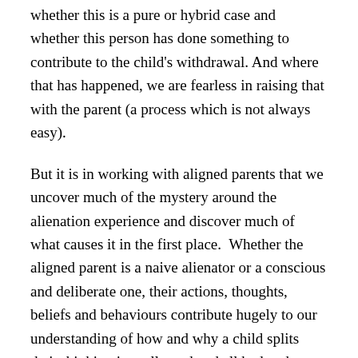whether this is a pure or hybrid case and whether this person has done something to contribute to the child's withdrawal. And where that has happened, we are fearless in raising that with the parent (a process which is not always easy).
But it is in working with aligned parents that we uncover much of the mystery around the alienation experience and discover much of what causes it in the first place.  Whether the aligned parent is a naive alienator or a conscious and deliberate one, their actions, thoughts, beliefs and behaviours contribute hugely to our understanding of how and why a child splits their thinking into all good and all bad and withdraws from the parent they are projecting the